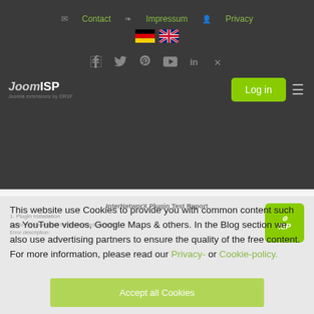Contact  Impressum  Privacy
[Figure (illustration): German and UK flag icons for language selection]
[Figure (illustration): Social media icons: Facebook, Twitter, Pinterest, YouTube, LinkedIn, Xing]
[Figure (logo): JoomISP logo with italic Joom and bold ISP text]
[Figure (illustration): Green Log in button and hamburger menu icon]
[Figure (screenshot): InterNetworX Plugin Test Report background content partially visible]
[Figure (logo): Green ISP logo icon in top-right corner of content area]
This website use Cookies to provide you with common content such as YouTube videos, Google Maps & others. In the Blog section we also use advertising partners to ensure the quality of the free content. For more information, please read our Privacy- or Cookie-policy.
[Figure (illustration): Accept all Cookies green button at bottom]